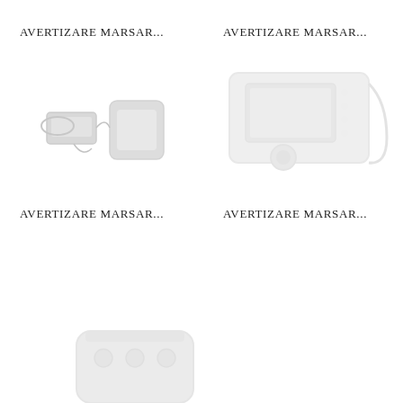AVERTIZARE MARSAR...
[Figure (photo): Parking sensor system with control unit and sensor pad, wired accessories]
AVERTIZARE MARSAR...
[Figure (photo): Rear camera in white housing with display screen and bracket mount]
AVERTIZARE MARSAR...
AVERTIZARE MARSAR...
[Figure (photo): Rear camera sensor device, partially visible at bottom of page]